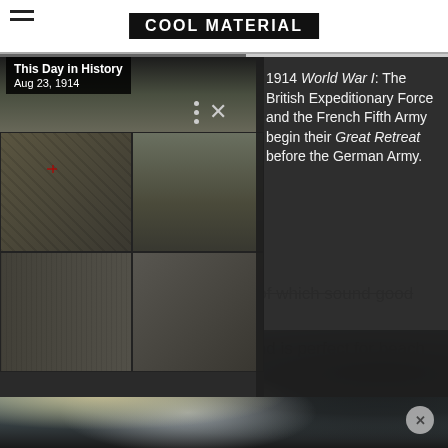COOL MATERIAL
[Figure (screenshot): This Day in History notification overlay showing WWI black and white photo collage on left and text panel on right. Label reads: This Day in History, Aug 23, 1914. Text: 1914 World War I: The British Expeditionary Force and the French Fifth Army begin their Great Retreat before the German Army.]
lime juice and simple syrup, all of which sound good to us. It doesn't resemble a Slurpee and is perfect for beach consumption.
[Figure (photo): Blurred photograph of a cocktail drink with a lemon/lime garnish on the rim, ice, on a light background.]